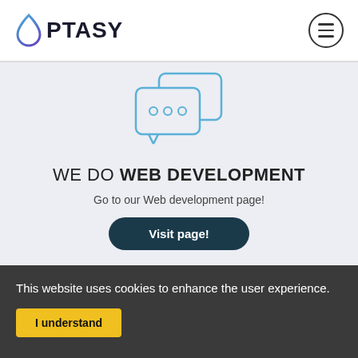OPTASY
[Figure (illustration): Two speech bubbles with three dots (ellipsis) inside, drawn in blue outline style, indicating web/chat communication]
WE DO WEB DEVELOPMENT
Go to our Web development page!
Visit page!
This website uses cookies to enhance the user experience.
I understand